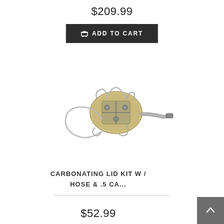$209.99
ADD TO CART
[Figure (photo): A carbonating lid kit with a round gold/brass-colored lid, metal wire bail clamps, and a flexible stainless steel hose attached.]
CARBONATING LID KIT W / HOSE & .5 CA...
$52.99